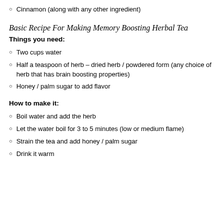Cinnamon (along with any other ingredient)
Basic Recipe For Making Memory Boosting Herbal Tea
Things you need:
Two cups water
Half a teaspoon of herb – dried herb / powdered form (any choice of herb that has brain boosting properties)
Honey / palm sugar to add flavor
How to make it:
Boil water and add the herb
Let the water boil for 3 to 5 minutes (low or medium flame)
Strain the tea and add honey / palm sugar
Drink it warm